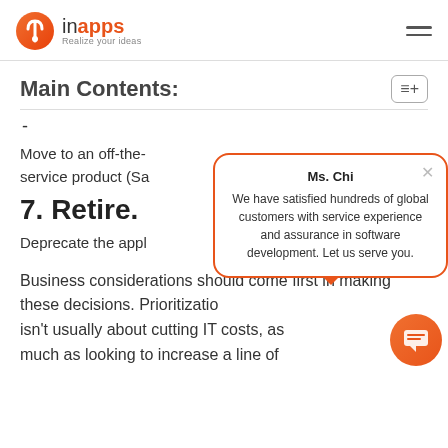InApps — Realize your ideas
Main Contents:
-
Move to an off-the-shelf software-as-a-service product (Sa...
7. Retire.
Deprecate the appl...
[Figure (other): Chat popup with Ms. Chi message: We have satisfied hundreds of global customers with service experience and assurance in software development. Let us serve you.]
Business considerations should come first in making these decisions. Prioritization isn't usually about cutting IT costs, as much as looking to increase a line of